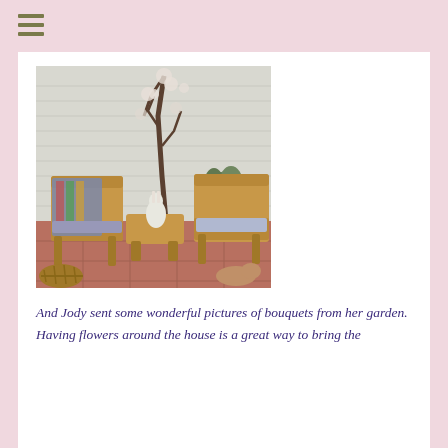[Figure (photo): Indoor sunroom or porch with two wicker chairs with cushions, a small wicker coffee table, a decorative white rabbit figurine on the table, a flowering branch tree in the corner against white siding walls, and a terracotta tile floor. A colorful blanket is draped over the left chair.]
And Jody sent some wonderful pictures of bouquets from her garden. Having flowers around the house is a great way to bring the